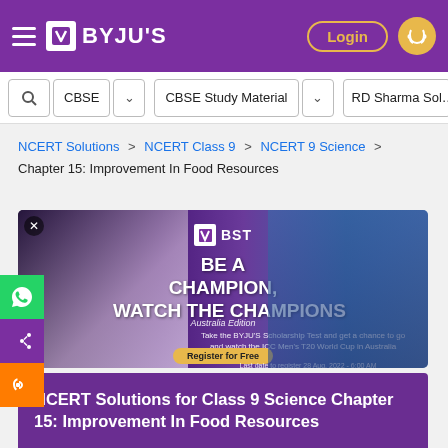BYJU'S
[Figure (screenshot): Navigation bar with search, CBSE dropdown, CBSE Study Material dropdown, RD Sharma Solutions]
NCERT Solutions > NCERT Class 9 > NCERT 9 Science > Chapter 15: Improvement In Food Resources
[Figure (photo): BST advertisement banner: BE A CHAMPION, WATCH THE CHAMPIONS - Australia Edition. BYJU'S Scholarship Test. Register for Free. Last date to register 28 Aug, 2022 - 6:00 AM]
NCERT Solutions for Class 9 Science Chapter 15: Improvement In Food Resources